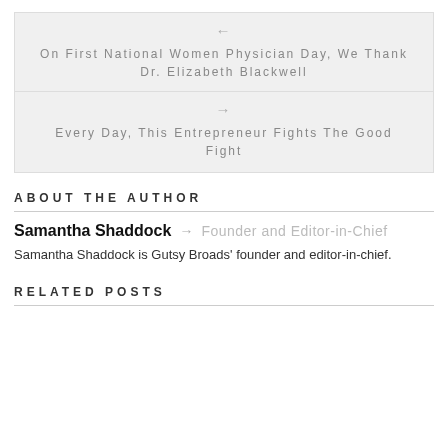← On First National Women Physician Day, We Thank Dr. Elizabeth Blackwell
→ Every Day, This Entrepreneur Fights The Good Fight
ABOUT THE AUTHOR
Samantha Shaddock → Founder and Editor-in-Chief
Samantha Shaddock is Gutsy Broads' founder and editor-in-chief.
RELATED POSTS